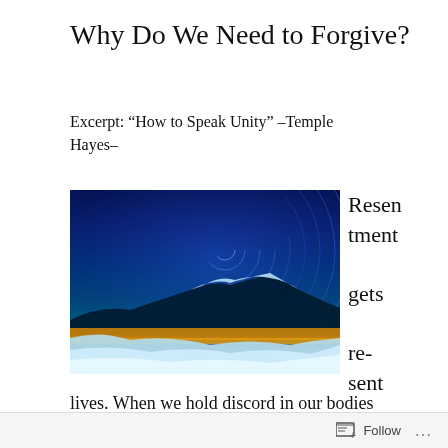Why Do We Need to Forgive?
Excerpt: “How to Speak Unity” –Temple Hayes–
[Figure (photo): Long-exposure night sky photo showing circular star trails above a snow-covered mountain landscape with a glowing yellow road in the foreground.]
Resentment gets re­sent and re­sent in our lives. When we hold discord in our bodies
Follow